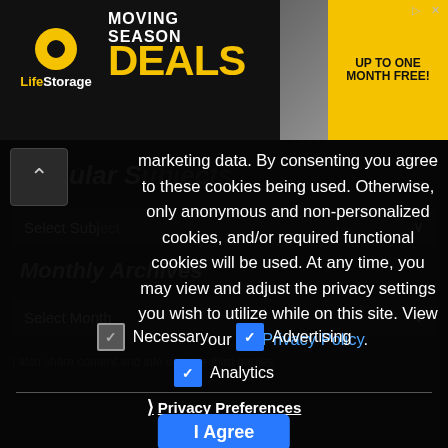[Figure (photo): Life Storage advertisement banner: 'Moving Season Deals — Up to One Month Free!' with logo and woman holding boxes]
marketing data. By consenting you agree to these cookies being used. Otherwise, only anonymous and non-personalized cookies, and/or required functional cookies will be used. At any time, you may view and adjust the privacy settings you wish to utilize while on this site. View our full Privacy Policy.
Necessary  Advertising  Analytics
› Privacy Preferences
I Agree